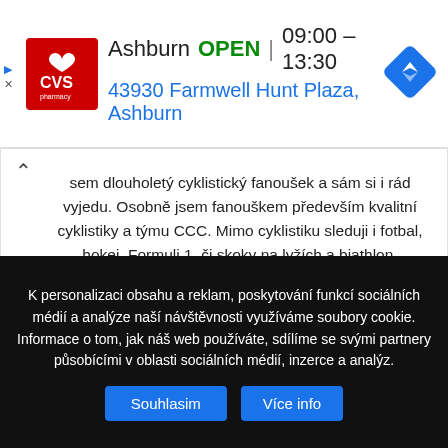[Figure (screenshot): CVS Pharmacy advertisement banner showing Ashburn location OPEN 09:00-13:30 at 43930 Farmwell Hunt Plaza, Ashburn with navigation icon]
sem dlouholetý cyklistický fanoušek a sám si i rád vyjedu. Osobně jsem fanouškem především kvalitní cyklistiky a týmu CCC. Mimo cyklistiku sleduji i fotbal, hokej, Formuli 1, či skoky na lyžích a biathlon.
[Figure (illustration): Facebook and Instagram social media icons]
SOUVISEJÍCÍ ČLÁNKY
VÍCE OD AUTORA
K personalizaci obsahu a reklam, poskytování funkcí sociálních médií a analýze naší návštěvnosti využíváme soubory cookie. Informace o tom, jak náš web používáte, sdílíme se svými partnery působícími v oblasti sociálních médií, inzerce a analýz.
Souhlasim
Více info